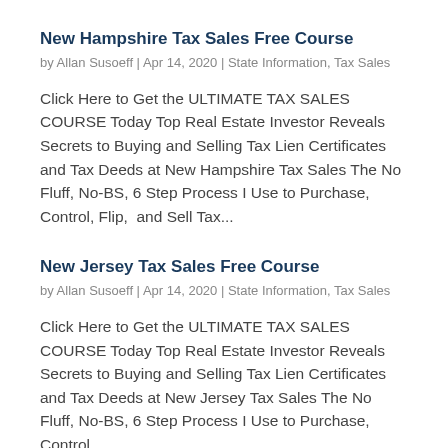New Hampshire Tax Sales Free Course
by Allan Susoeff | Apr 14, 2020 | State Information, Tax Sales
Click Here to Get the ULTIMATE TAX SALES COURSE Today Top Real Estate Investor Reveals Secrets to Buying and Selling Tax Lien Certificates and Tax Deeds at New Hampshire Tax Sales The No Fluff, No-BS, 6 Step Process I Use to Purchase, Control, Flip,  and Sell Tax...
New Jersey Tax Sales Free Course
by Allan Susoeff | Apr 14, 2020 | State Information, Tax Sales
Click Here to Get the ULTIMATE TAX SALES COURSE Today Top Real Estate Investor Reveals Secrets to Buying and Selling Tax Lien Certificates and Tax Deeds at New Jersey Tax Sales The No Fluff, No-BS, 6 Step Process I Use to Purchase, Control,